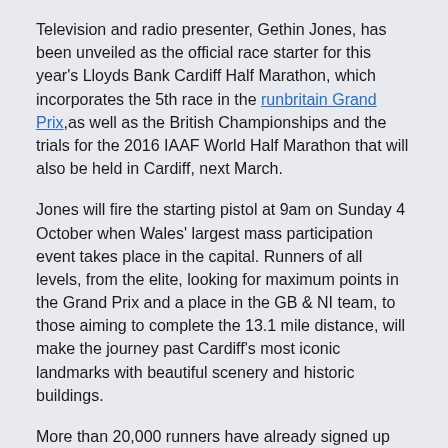Television and radio presenter, Gethin Jones, has been unveiled as the official race starter for this year's Lloyds Bank Cardiff Half Marathon, which incorporates the 5th race in the runbritain Grand Prix,as well as the British Championships and the trials for the 2016 IAAF World Half Marathon that will also be held in Cardiff, next March.
Jones will fire the starting pistol at 9am on Sunday 4 October when Wales' largest mass participation event takes place in the capital. Runners of all levels, from the elite, looking for maximum points in the Grand Prix and a place in the GB & NI team, to those aiming to complete the 13.1 mile distance, will make the journey past Cardiff's most iconic landmarks with beautiful scenery and historic buildings.
More than 20,000 runners have already signed up for this year's race with the final number of entrants expected to get close to 2014's record of 21,124.
Gethin Jones commented: “I’m excited about the opportunity to start the Lloyds Bank Cardiff Half Marathon this year and set in motion thousands of runners on their own personal journeys.
“The participants have all been inspired to run for different reasons, whether personal fitness challenges, athletic goals, or to fundraise for the many charitable good causes that are supported and receive